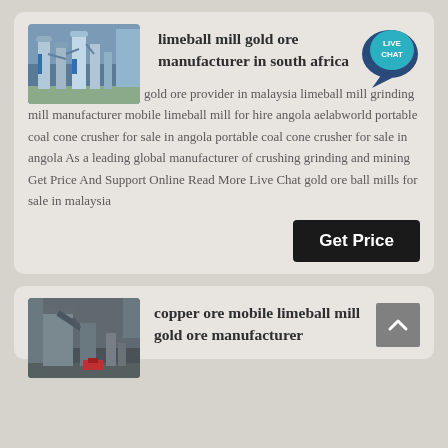[Figure (photo): Industrial mining/milling facility with blue metal structures and silos]
limeball mill gold ore manufacturer in south africa
[Figure (infographic): Live Chat speech bubble badge in teal/dark blue]
limeball mill portable gold ore provider in malaysia limeball mill grinding mill manufacturer mobile limeball mill for hire angola aelabworld portable coal cone crusher for sale in angola portable coal cone crusher for sale in angola As a leading global manufacturer of crushing grinding and mining Get Price And Support Online Read More Live Chat gold ore ball mills for sale in malaysia
Get Price
[Figure (photo): Industrial copper ore processing facility with dark structures and red base equipment]
copper ore mobile limeball mill gold ore manufacturer